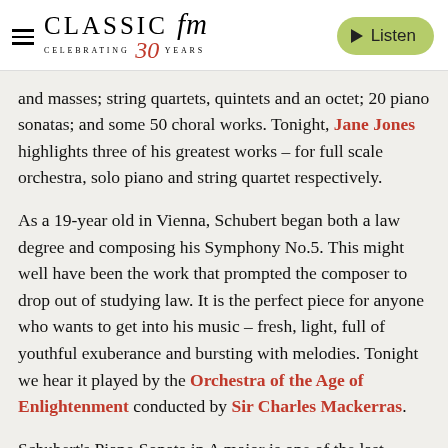Classic FM — Celebrating 30 Years | Listen
and masses; string quartets, quintets and an octet; 20 piano sonatas; and some 50 choral works. Tonight, Jane Jones highlights three of his greatest works – for full scale orchestra, solo piano and string quartet respectively.
As a 19-year old in Vienna, Schubert began both a law degree and composing his Symphony No.5. This might well have been the work that prompted the composer to drop out of studying law. It is the perfect piece for anyone who wants to get into his music – fresh, light, full of youthful exuberance and bursting with melodies. Tonight we hear it played by the Orchestra of the Age of Enlightenment conducted by Sir Charles Mackerras.
Schubert's Piano Sonata in A major is one of the last